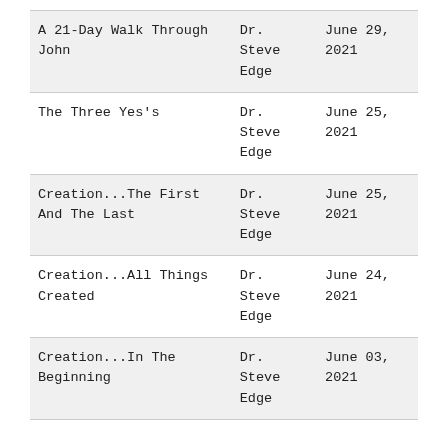| A 21-Day Walk Through John | Dr.
Steve
Edge | June 29,
2021 |
| The Three Yes's | Dr.
Steve
Edge | June 25,
2021 |
| Creation...The First And The Last | Dr.
Steve
Edge | June 25,
2021 |
| Creation...All Things Created | Dr.
Steve
Edge | June 24,
2021 |
| Creation...In The Beginning | Dr.
Steve
Edge | June 03,
2021 |